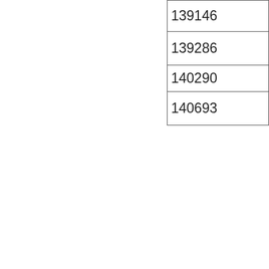| 139146 |
| 139286 |
| 140290 |
| 140693 |
Automatic
| 123826 |
| 132504 |
| 136414 |
| 145778 |
| 143326 |